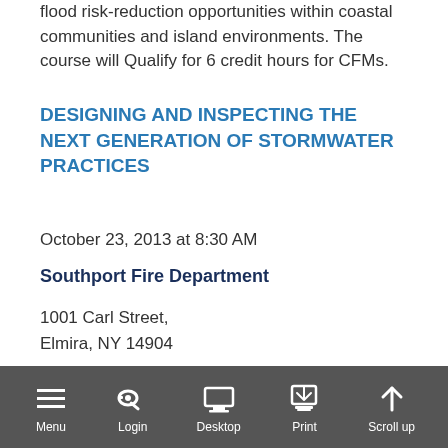flood risk-reduction opportunities within coastal communities and island environments. The course will Qualify for 6 credit hours for CFMs.
DESIGNING AND INSPECTING THE NEXT GENERATION OF STORMWATER PRACTICES
October 23, 2013 at 8:30 AM
Southport Fire Department
1001 Carl Street,
Elmira, NY 14904
Education & Training - A Chesapeake Bay Stormwater Training Partnership Workshop